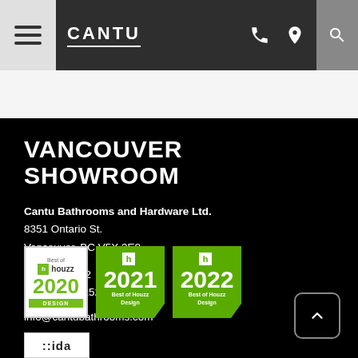CANTU — Navigation bar with hamburger menu, phone icon, location icon, search icon
VANCOUVER SHOWROOM
Cantu Bathrooms and Hardware Ltd.
8351 Ontario St.
Vancouver, BC V5X 3E8
604-688-1252
1-800-910-1252
info@cantubathrooms.com
[Figure (logo): Best of Houzz 2020 Design badge — white background with green houzz logo and year 2020]
[Figure (logo): Best of Houzz 2021 Design badge — green pentagon shape with white h logo and year 2021]
[Figure (logo): Best of Houzz 2022 Design badge — green pentagon shape with white h logo and year 2022]
[Figure (logo): IDA badge partial — white box with stylized iida lettering]